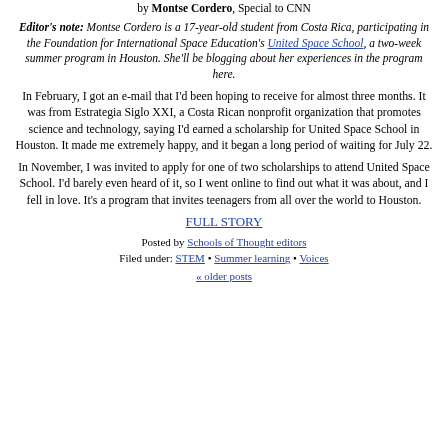by Montse Cordero, Special to CNN
Editor's note: Montse Cordero is a 17-year-old student from Costa Rica, participating in the Foundation for International Space Education's United Space School, a two-week summer program in Houston. She'll be blogging about her experiences in the program here.
In February, I got an e-mail that I'd been hoping to receive for almost three months. It was from Estrategia Siglo XXI, a Costa Rican nonprofit organization that promotes science and technology, saying I'd earned a scholarship for United Space School in Houston. It made me extremely happy, and it began a long period of waiting for July 22.
In November, I was invited to apply for one of two scholarships to attend United Space School. I'd barely even heard of it, so I went online to find out what it was about, and I fell in love. It's a program that invites teenagers from all over the world to Houston.
FULL STORY
Posted by Schools of Thought editors
Filed under: STEM • Summer learning • Voices
« older posts